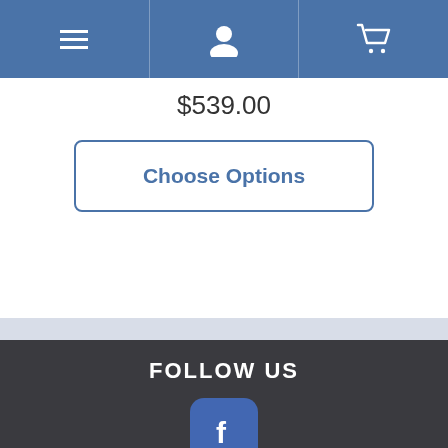[Figure (screenshot): Navigation bar with hamburger menu, user icon, and shopping cart icon on blue background]
$539.00
Choose Options
FOLLOW US
[Figure (logo): Facebook app icon - blue rounded square with white F]
[Figure (logo): Twitter app icon - teal rounded square with white bird]
[Figure (logo): YouTube app icon - red rounded square with You text (partially visible)]